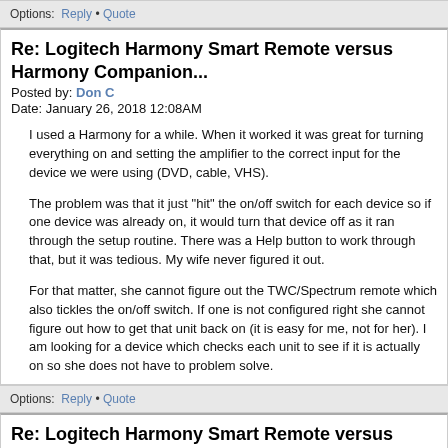Options: Reply • Quote
Re: Logitech Harmony Smart Remote versus Harmony Companion...
Posted by: Don C
Date: January 26, 2018 12:08AM
I used a Harmony for a while. When it worked it was great for turning everything on and setting the amplifier to the correct input for the device we were using (DVD, cable, VHS).

The problem was that it just "hit" the on/off switch for each device so if one device was already on, it would turn that device off as it ran through the setup routine. There was a Help button to work through that, but it was tedious. My wife never figured it out.

For that matter, she cannot figure out the TWC/Spectrum remote which also tickles the on/off switch. If one is not configured right she cannot figure out how to get that unit back on (it is easy for me, not for her). I am looking for a device which checks each unit to see if it is actually on so she does not have to problem solve.
Options: Reply • Quote
Re: Logitech Harmony Smart Remote versus Harmony Companion...
Posted by: mikebw
Date: January 26, 2018 09:36AM